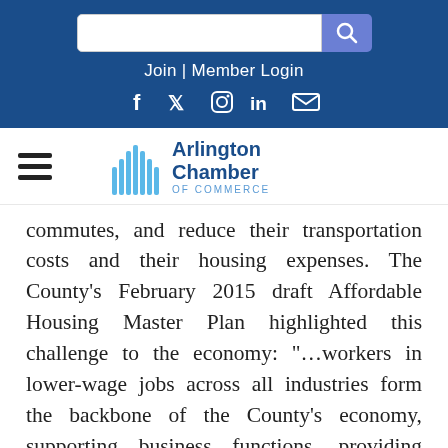[Figure (screenshot): Website header with search bar, Join | Member Login text, social media icons (Facebook, Twitter, Instagram, LinkedIn, Email) on dark blue background, and Arlington Chamber of Commerce logo with hamburger menu]
commutes, and reduce their transportation costs and their housing expenses. The County's February 2015 draft Affordable Housing Master Plan highlighted this challenge to the economy: “…workers in lower-wage jobs across all industries form the backbone of the County's economy, supporting business functions, providing resident-based goods and services, and serving the thousands of visitors who come to Arlington each year. Without a sufficient supply of